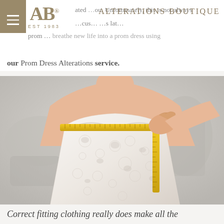ALTERATIONS BOUTIQUE EST 1983
ated …ou. Unfortunately, this is not always …cause customers later … prom … breathe new life into a prom dress using our Prom Dress Alterations service.
[Figure (photo): Woman wearing a white strapless lace wedding/prom dress with a yellow measuring tape wrapped around her chest, being held by her hand. Background shows a blurred sewing machine.]
Correct fitting clothing really does make all the